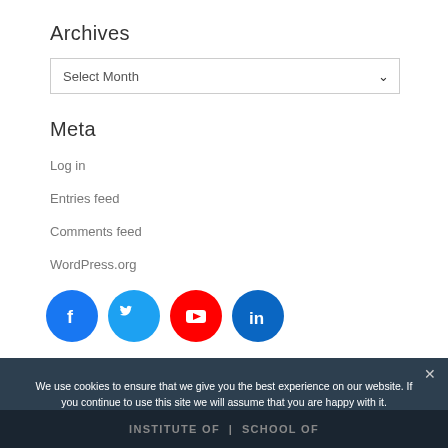Archives
Select Month
Meta
Log in
Entries feed
Comments feed
WordPress.org
[Figure (illustration): Social media icon buttons: Facebook (blue), Twitter (light blue), YouTube (red), LinkedIn (dark blue)]
We use cookies to ensure that we give you the best experience on our website. If you continue to use this site we will assume that you are happy with it.
Ok
INSTITUTE OF | SCHOOL OF